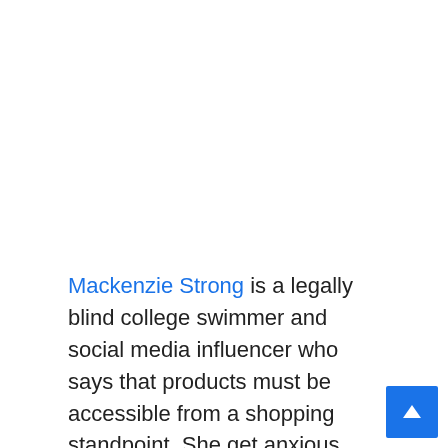Mackenzie Strong is a legally blind college swimmer and social media influencer who says that products must be accessible from a shopping standpoint. She get anxious about shopping in person versus online, where she can search for the product, zoom in, and have